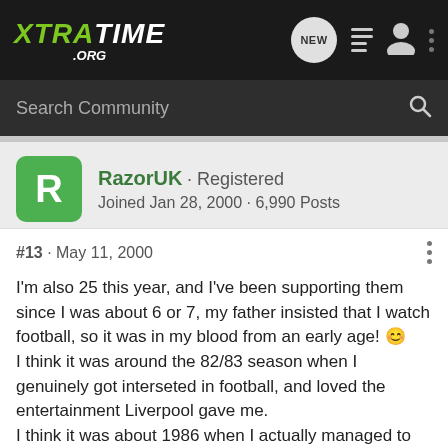XTRATIME .ORG — navigation bar with logo and icons
Search Community
RazorUK · Registered
Joined Jan 28, 2000 · 6,990 Posts
#13 · May 11, 2000
I'm also 25 this year, and I've been supporting them since I was about 6 or 7, my father insisted that I watch football, so it was in my blood from an early age! 🙂
I think it was around the 82/83 season when I genuinely got interseted in football, and loved the entertainment Liverpool gave me.
I think it was about 1986 when I actually managed to understand most of the finer details of the game, and really enjoy it at a better level.
I can't really put my favourite player down, I'd have to split it into